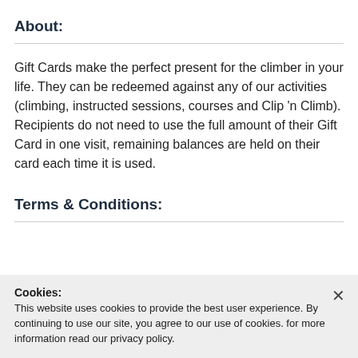About:
Gift Cards make the perfect present for the climber in your life. They can be redeemed against any of our activities (climbing, instructed sessions, courses and Clip 'n Climb). Recipients do not need to use the full amount of their Gift Card in one visit, remaining balances are held on their card each time it is used.
Terms & Conditions:
Cookies: This website uses cookies to provide the best user experience. By continuing to use our site, you agree to our use of cookies. for more information read our privacy policy.